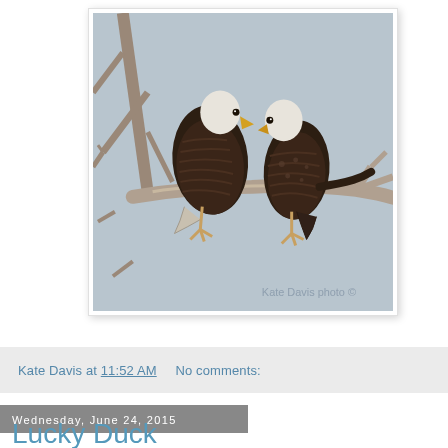[Figure (photo): Two bald eagles perched on bare tree branches. The left eagle is larger and faces right with white head and yellow beak and brown body. The right eagle is slightly smaller facing left also with white head and yellow beak and brown speckled body. Background is a pale grey-blue sky. Watermark reads 'Kate Davis photo ©' in lower right.]
Kate Davis at 11:52 AM    No comments:
Wednesday, June 24, 2015
Lucky Duck